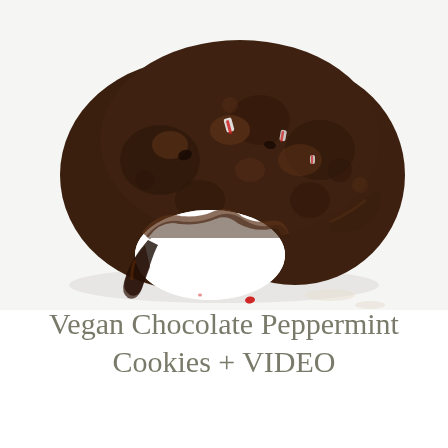[Figure (photo): A large dark chocolate cookie with a bite taken out of it, revealing melted chocolate and candy cane pieces inside. The cookie sits on a white marble surface with a small red candy piece fallen nearby. The cookie is dark brown, textured, and gooey inside.]
Vegan Chocolate Peppermint Cookies + VIDEO